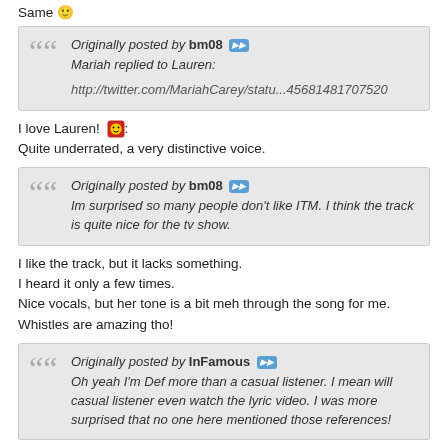Same 😊
Originally posted by bm08 ▶▶
Mariah replied to Lauren:
http://twitter.com/MariahCarey/statu...45681481707520
I love Lauren! 😊
Quite underrated, a very distinctive voice.
Originally posted by bm08 ▶▶
Im surprised so many people don't like ITM. I think the track is quite nice for the tv show.
I like the track, but it lacks something.
I heard it only a few times.
Nice vocals, but her tone is a bit meh through the song for me.
Whistles are amazing tho!
Originally posted by InFamous ▶▶
Oh yeah I'm Def more than a casual listener. I mean will casual listener even watch the lyric video. I was more surprised that no one here mentioned those references!
I posted the video and no one talked about it, let alone the references!